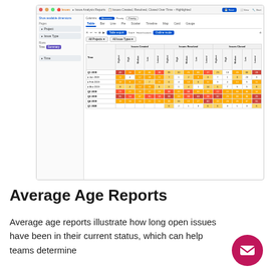[Figure (screenshot): Jira Issue Analysis Reports screenshot showing Issues Created, Resolved, Closed Over Time table with priority breakdown columns (Highest, High, Medium, Low, Lowest) for time periods Q1 2019 through Q1 2020 with heat-map colored cells]
Average Age Reports
Average age reports illustrate how long open issues have been in their current status, which can help teams determine